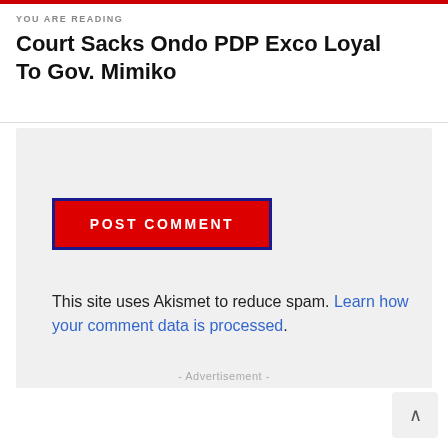YOU ARE READING
Court Sacks Ondo PDP Exco Loyal To Gov. Mimiko
POST COMMENT
This site uses Akismet to reduce spam. Learn how your comment data is processed.
- Advertisement -